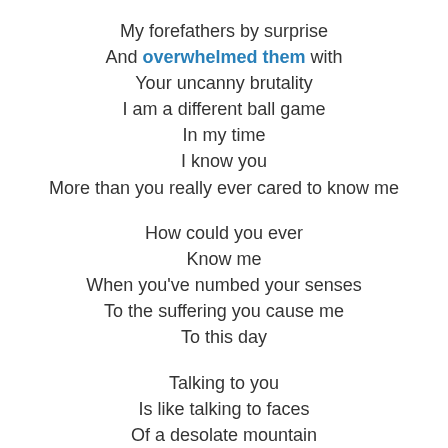My forefathers by surprise
And overwhelmed them with
Your uncanny brutality
I am a different ball game
In my time
I know you
More than you really ever cared to know me
How could you ever
Know me
When you've numbed your senses
To the suffering you cause me
To this day
Talking to you
Is like talking to faces
Of a desolate mountain